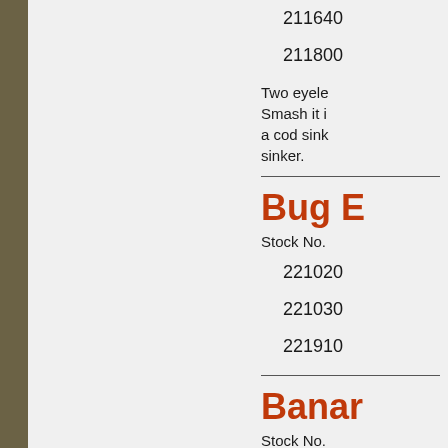211640
211800
Two eyele... Smash it i... a cod sinke... sinker.
Bug E
Stock No.
221020
221030
221910
Banar
Stock No.
222900